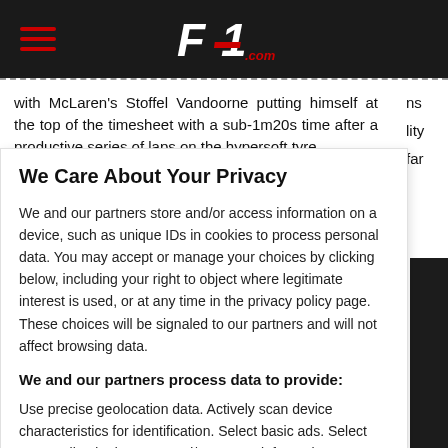F1.com header with hamburger menu
with McLaren's Stoffel Vandoorne putting himself at the top of the timesheet with a sub-1m20s time after a productive series of laps on the hypersoft tyre.
We Care About Your Privacy
We and our partners store and/or access information on a device, such as unique IDs in cookies to process personal data. You may accept or manage your choices by clicking below, including your right to object where legitimate interest is used, or at any time in the privacy policy page. These choices will be signaled to our partners and will not affect browsing data.
We and our partners process data to provide:
Use precise geolocation data. Actively scan device characteristics for identification. Select basic ads. Select personalised ads. Store and/or access information on a device. Measure ad performance. Create a personalised content profile. Apply market research to generate audience insights. Develop and improve products. Select